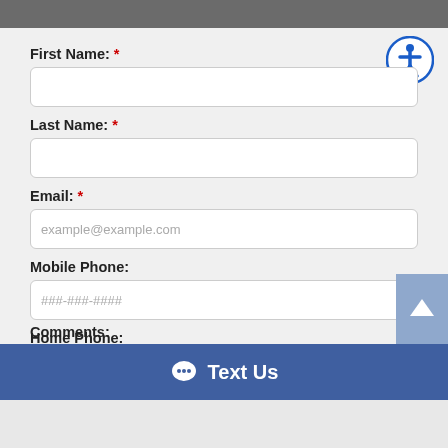First Name: *
Last Name: *
Email: *
Mobile Phone:
Home Phone:
Comments:
Text Us